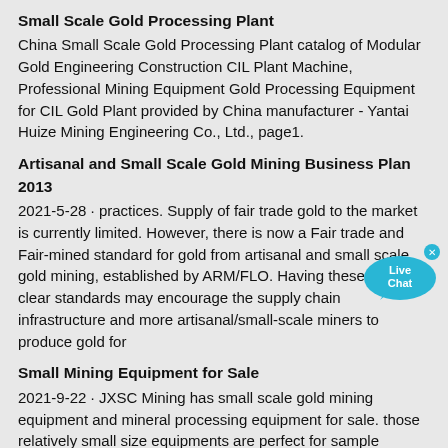Small Scale Gold Processing Plant
China Small Scale Gold Processing Plant catalog of Modular Gold Engineering Construction CIL Plant Machine, Professional Mining Equipment Gold Processing Equipment for CIL Gold Plant provided by China manufacturer - Yantai Huize Mining Engineering Co., Ltd., page1.
Artisanal and Small Scale Gold Mining Business Plan 2013
2021-5-28 · practices. Supply of fair trade gold to the market is currently limited. However, there is now a Fair trade and Fair-mined standard for gold from artisanal and small scale gold mining, established by ARM/FLO. Having these kinds of clear standards may encourage the supply chain infrastructure and more artisanal/small-scale miners to produce gold for
[Figure (illustration): Live Chat speech bubble button overlay]
Small Mining Equipment for Sale
2021-9-22 · JXSC Mining has small scale gold mining equipment and mineral processing equipment for sale. those relatively small size equipments are perfect for sample preparation and metallurgical laboratories, you can buy those good alternatives economically that are usually unaffordable in the classic market place.. Suitable Mineral Material□gold…
Artisan And Small-Scale Gold Mining Without Mercury
Small-Scale Miners. Our vision is to enable small-scale gold miners to achieve the same gold recovery rates as large-scale miners but with a lower cost, scalable, mobile processing